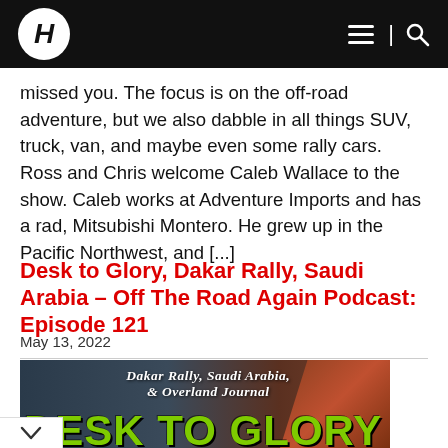H — Off The Road Again (logo/nav bar)
missed you. The focus is on the off-road adventure, but we also dabble in all things SUV, truck, van, and maybe even some rally cars. Ross and Chris welcome Caleb Wallace to the show. Caleb works at Adventure Imports and has a rad, Mitsubishi Montero. He grew up in the Pacific Northwest, and [...]
Desk to Glory, Dakar Rally, Saudi Arabia – Off The Road Again Podcast: Episode 121
May 13, 2022
[Figure (photo): Podcast episode thumbnail showing a rally truck in desert with text overlay: DAKAR RALLY, SAUDI ARABIA, & OVERLAND JOURNAL and large green text DESK TO GLORY]